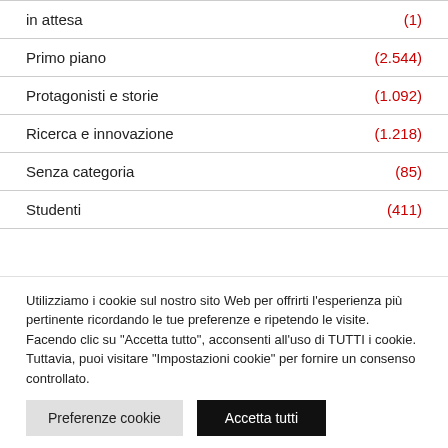in attesa (1)
Primo piano (2.544)
Protagonisti e storie (1.092)
Ricerca e innovazione (1.218)
Senza categoria (85)
Studenti (411)
Utilizziamo i cookie sul nostro sito Web per offrirti l'esperienza più pertinente ricordando le tue preferenze e ripetendo le visite. Facendo clic su "Accetta tutto", acconsenti all'uso di TUTTI i cookie. Tuttavia, puoi visitare "Impostazioni cookie" per fornire un consenso controllato.
Preferenze cookie | Accetta tutti